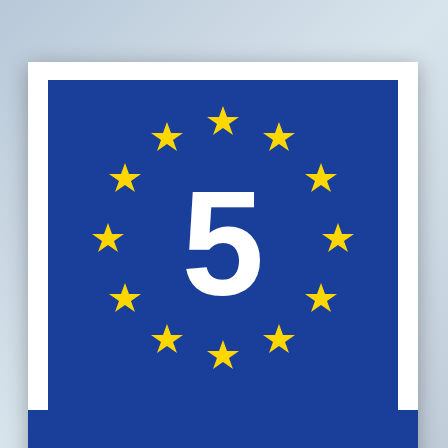[Figure (illustration): European Union flag logo with 12 gold stars in a circle on a blue background, with a large white number '5' in the center]
Privacy & Cookies: This site uses cookies. By continuing to use this website, you agree to their use.
To find out more, including how to control cookies, see here: Cookie Policy